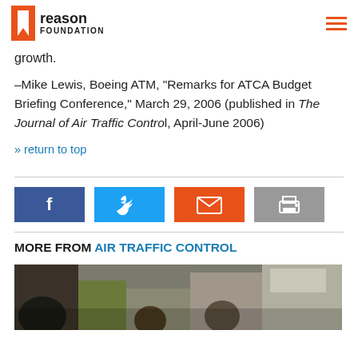Reason Foundation
growth.
–Mike Lewis, Boeing ATM, "Remarks for ATCA Budget Briefing Conference," March 29, 2006 (published in The Journal of Air Traffic Control, April-June 2006)
» return to top
[Figure (other): Social sharing buttons: Facebook, Twitter, Email, Print]
MORE FROM AIR TRAFFIC CONTROL
[Figure (photo): Photo of people in an airport wearing masks, crowded terminal with seating area visible in background]